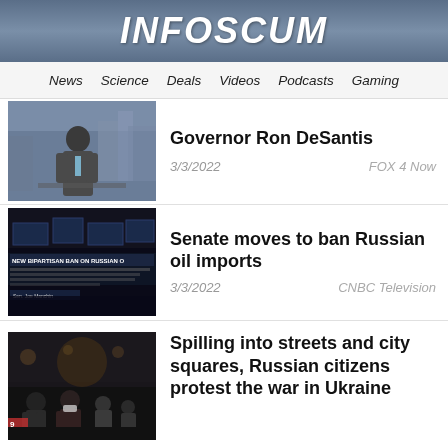INFOSCUM
News  Science  Deals  Videos  Podcasts  Gaming
Governor Ron DeSantis
3/3/2022    FOX 4 Now
Senate moves to ban Russian oil imports
3/3/2022    CNBC Television
Spilling into streets and city squares, Russian citizens protest the war in Ukraine